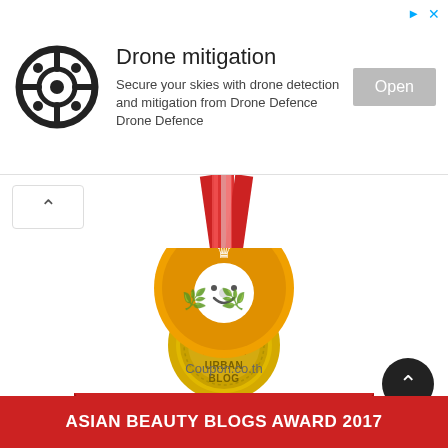[Figure (infographic): Advertisement banner for Drone mitigation product. Shows a drone target icon, title 'Drone mitigation', description text, and an 'Open' button. Has small ad arrows and X in top right.]
[Figure (illustration): Gold medal badge with red ribbon, text 'AWARDED TOP 100 URBAN BLOG' with a trophy icon on top.]
[Figure (illustration): Asian Beauty Blogs Award 2017 badge - orange/gold starburst with a smiley face and crown, 'Coupon.co.th' text, and red ribbon banner reading 'ASIAN BEAUTY BLOGS AWARD 2017'.]